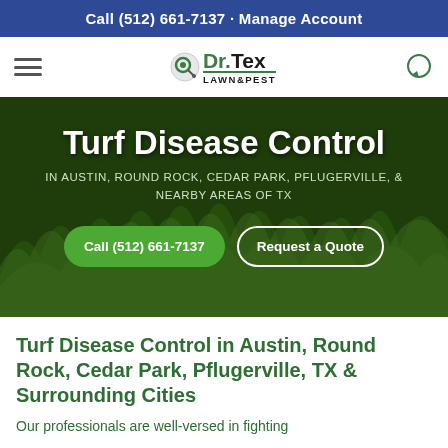Call (512) 661-7137 · Manage Account
[Figure (logo): Dr. Tex Lawn & Pest logo with green satellite dish icon]
Turf Disease Control
IN AUSTIN, ROUND ROCK, CEDAR PARK, PFLUGERVILLE, & NEARBY AREAS OF TX
Call (512) 661-7137
Request a Quote
Turf Disease Control in Austin, Round Rock, Cedar Park, Pflugerville, TX & Surrounding Cities
Our professionals are well-versed in fighting